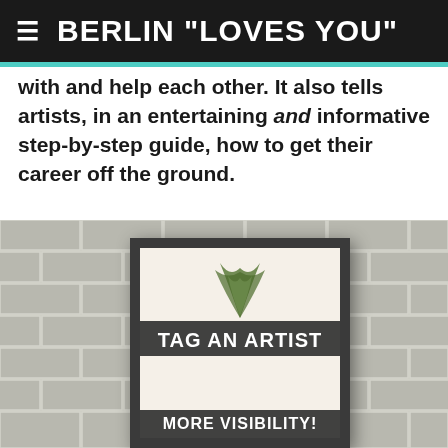BERLIN "LOVES YOU"
with and help each other. It also tells artists, in an entertaining and informative step-by-step guide, how to get their career off the ground.
[Figure (photo): A framed poster on a white brick wall. The poster shows a pineapple graphic with text 'TAG AN ARTIST THAT...' and 'MORE VISIBILITY!' in white text on a dark background. A cookie consent overlay popup is shown on top of the image with the text 'By continuing to use the site, you agree to the use of cookies. more information' and an 'Accept' button.]